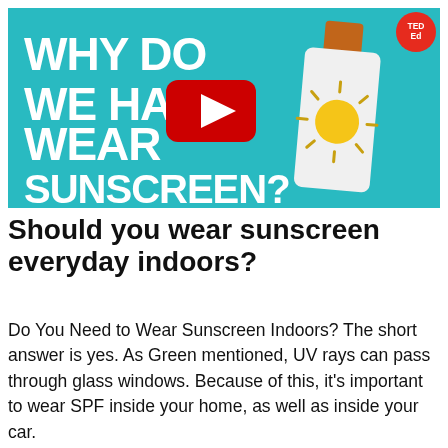[Figure (screenshot): TED-Ed YouTube video thumbnail showing a white sunscreen bottle with an orange cap and a sun illustration, on a teal background. Bold white text reads 'WHY DO WE HAVE TO WEAR SUNSCREEN?' with a YouTube play button overlay. TED-Ed logo in top-right corner.]
Should you wear sunscreen everyday indoors?
Do You Need to Wear Sunscreen Indoors? The short answer is yes. As Green mentioned, UV rays can pass through glass windows. Because of this, it's important to wear SPF inside your home, as well as inside your car.